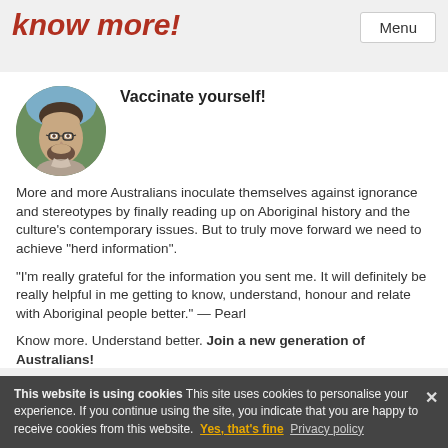know more!
Vaccinate yourself!
[Figure (photo): Circular avatar photo of a man with glasses and beard, outdoors with green foliage in background]
More and more Australians inoculate themselves against ignorance and stereotypes by finally reading up on Aboriginal history and the culture's contemporary issues. But to truly move forward we need to achieve "herd information".
"I'm really grateful for the information you sent me. It will definitely be really helpful in me getting to know, understand, honour and relate with Aboriginal people better." — Pearl
Know more. Understand better. Join a new generation of Australians!
This website is using cookies This site uses cookies to personalise your experience. If you continue using the site, you indicate that you are happy to receive cookies from this website. Yes, that's fine Privacy policy